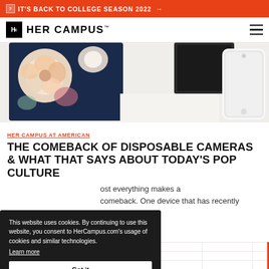🔲 IT'S BACK TO COLLEGE SEASON 2022 →
[Figure (logo): Her Campus logo with Hc box and text]
[Figure (photo): Flat lay photo showing a floral notebook/tablet case and a white smartphone on a white desk surface]
HER CAMPUS AT AMERICAN
THE COMEBACK OF DISPOSABLE CAMERAS & WHAT THAT SAYS ABOUT TODAY'S POP CULTURE
…ost everything makes a comeback. One device that has recently …a.
This website uses cookies. By continuing to use this website, you consent to HerCampus.com's usage of cookies and similar technologies. Learn more Got it